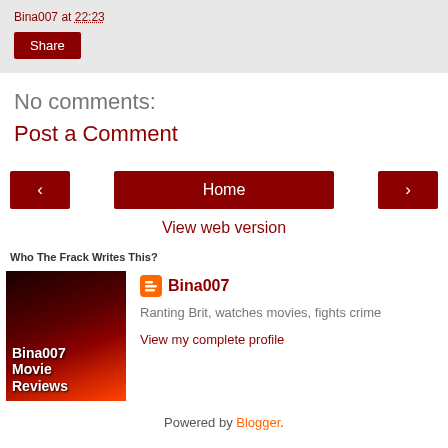Bina007 at 22:23
[Figure (other): Share button (dark red)]
No comments:
Post a Comment
[Figure (other): Navigation bar with left arrow, Home button, right arrow]
View web version
Who The Frack Writes This?
[Figure (photo): Bina007 Movie Reviews blog profile image with red/dark cinema background]
Bina007
Ranting Brit, watches movies, fights crime
View my complete profile
Powered by Blogger.